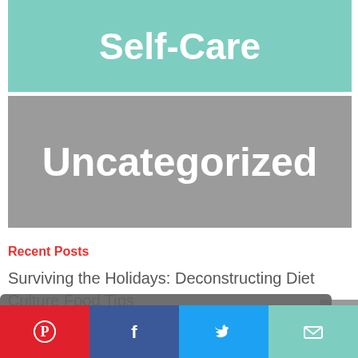Self-Care
Uncategorized
Recent Posts
Surviving the Holidays: Deconstructing Diet Culture Food Tips
This website uses cookies to ensure you get the best experience on our website.  Learn more
Got it!